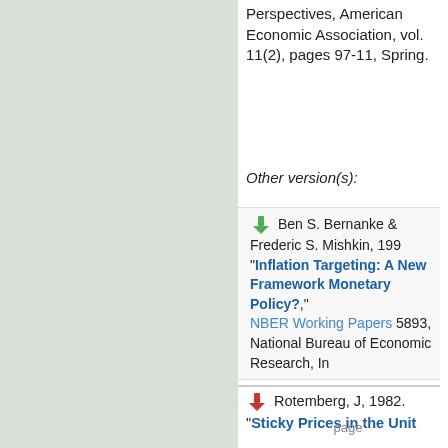Perspectives, American Economic Association, vol. 11(2), pages 97-11, Spring.
Other version(s):
Ben S. Bernanke & Frederic S. Mishkin, 199 "Inflation Targeting: A New Framework Monetary Policy?," NBER Working Papers 5893, National Bureau of Economic Research, In
Rotemberg, J, 1982. "Sticky Prices in the Unit
page